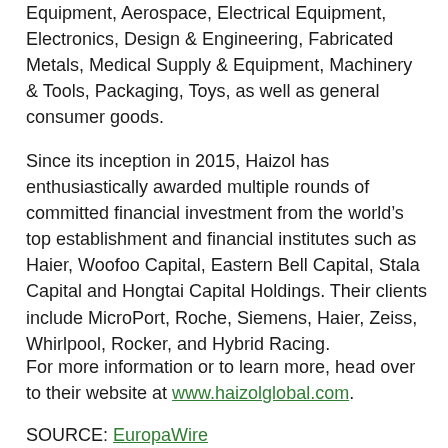Equipment, Aerospace, Electrical Equipment, Electronics, Design & Engineering, Fabricated Metals, Medical Supply & Equipment, Machinery & Tools, Packaging, Toys, as well as general consumer goods.
Since its inception in 2015, Haizol has enthusiastically awarded multiple rounds of committed financial investment from the world's top establishment and financial institutes such as Haier, Woofoo Capital, Eastern Bell Capital, Stala Capital and Hongtai Capital Holdings. Their clients include MicroPort, Roche, Siemens, Haier, Zeiss, Whirlpool, Rocker, and Hybrid Racing.
For more information or to learn more, head over to their website at www.haizolglobal.com.
SOURCE: EuropaWire